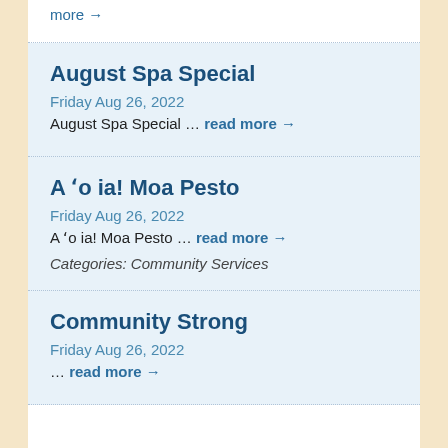more →
August Spa Special
Friday Aug 26, 2022
August Spa Special … read more →
A 'o ia! Moa Pesto
Friday Aug 26, 2022
A 'o ia! Moa Pesto … read more →
Categories: Community Services
Community Strong
Friday Aug 26, 2022
… read more →